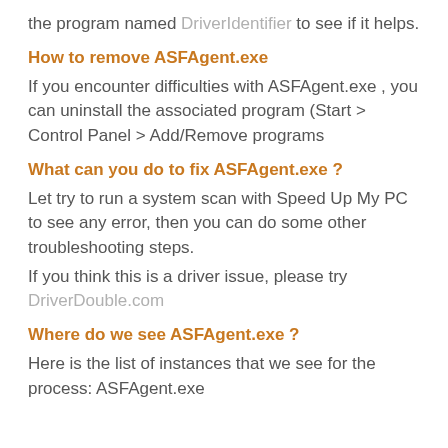the program named DriverIdentifier to see if it helps.
How to remove ASFAgent.exe
If you encounter difficulties with ASFAgent.exe , you can uninstall the associated program (Start > Control Panel > Add/Remove programs
What can you do to fix ASFAgent.exe ?
Let try to run a system scan with Speed Up My PC to see any error, then you can do some other troubleshooting steps.
If you think this is a driver issue, please try DriverDouble.com
Where do we see ASFAgent.exe ?
Here is the list of instances that we see for the process: ASFAgent.exe